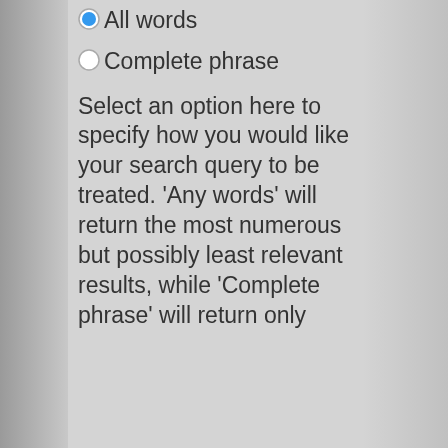All words
Complete phrase
Select an option here to specify how you would like your search query to be treated. 'Any words' will return the most numerous but possibly least relevant results, while 'Complete phrase' will return only